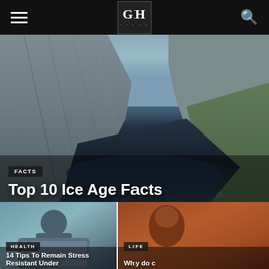GH — navigation header with hamburger menu and search icon
[Figure (photo): Aerial view of a dramatic fjord with steep mountain cliffs and deep blue water, green hillsides visible on right]
FACTS
Top 10 Ice Age Facts
[Figure (photo): Close-up of a man looking stressed at a laptop screen, holding a bottle]
HEALTH
14 Tips To Remain Stress Resistant Under
[Figure (photo): Partial view of a person with warm orange/amber lighting background]
LIFE
Why do c